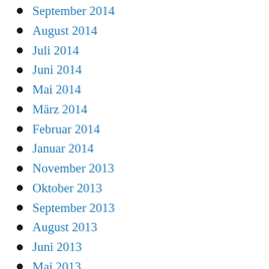September 2014
August 2014
Juli 2014
Juni 2014
Mai 2014
März 2014
Februar 2014
Januar 2014
November 2013
Oktober 2013
September 2013
August 2013
Juni 2013
Mai 2013
April 2013
März 2013